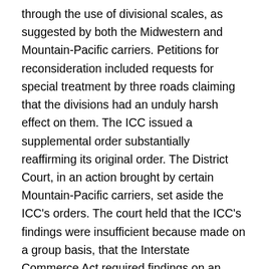through the use of divisional scales, as suggested by both the Midwestern and Mountain-Pacific carriers. Petitions for reconsideration included requests for special treatment by three roads claiming that the divisions had an unduly harsh effect on them. The ICC issued a supplemental order substantially reaffirming its original order. The District Court, in an action brought by certain Mountain-Pacific carriers, set aside the ICC's orders. The court held that the ICC's findings were insufficient because made on a group basis, that the Interstate Commerce Act required findings on an individual basis with respect to each of the 300 railroads involved, and that the ICC was obliged to determine, in precise dollar amount, the revenue needs of each railroad and the revenue effect on each road of the new divisions. All of the Eastern and some of the Midwestern carriers reached settlement agreements with the Mountain-Pacific roads covering rate divisions affecting them and the remaining dispute mainly